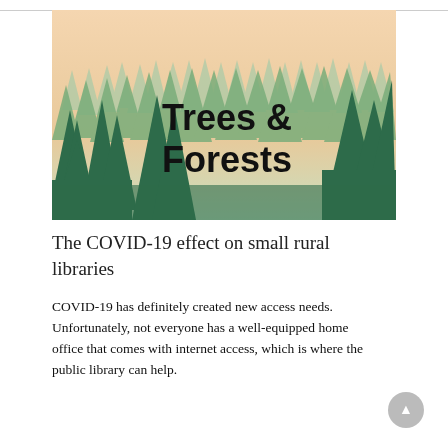[Figure (illustration): Forest illustration with layered silhouettes of pine trees in shades of green against a warm peach/cream sky, with bold black text overlay reading 'Trees & Forests']
The COVID-19 effect on small rural libraries
COVID-19 has definitely created new access needs. Unfortunately, not everyone has a well-equipped home office that comes with internet access, which is where the public library can help.